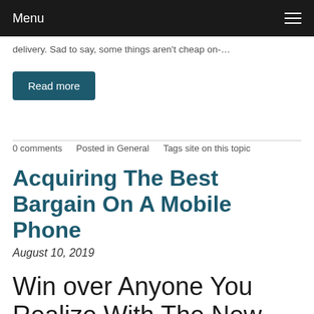Menu
delivery. Sad to say, some things aren't cheap on-…
Read more
0 comments   Posted in General   Tags site on this topic
Acquiring The Best Bargain On A Mobile Phone
August 10, 2019
Win over Anyone You Realize With The New Cell